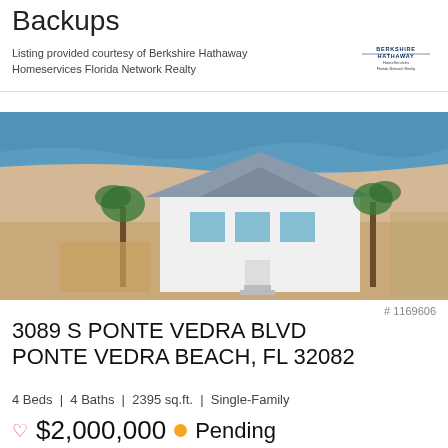Backups
Listing provided courtesy of Berkshire Hathaway Homeservices Florida Network Realty
[Figure (photo): Aerial view of a white beach house with metal roof and palm trees on a sandy beach with ocean in the background]
# 1169606
3089 S PONTE VEDRA BLVD PONTE VEDRA BEACH, FL 32082
4 Beds | 4 Baths | 2395 sq.ft. | Single-Family
$2,000,000 Pending